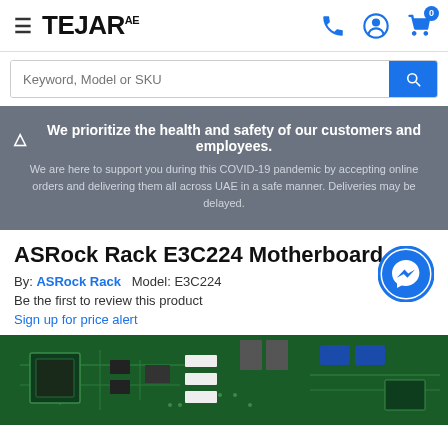TEJAR AE — navigation header with hamburger menu, logo, phone icon, user icon, cart icon (0 items)
Keyword, Model or SKU
⚠ We prioritize the health and safety of our customers and employees. We are here to support you during this COVID-19 pandemic by accepting online orders and delivering them all across UAE in a safe manner. Deliveries may be delayed.
ASRock Rack E3C224 Motherboard
By: ASRock Rack   Model: E3C224
Be the first to review this product
Sign up for price alert
[Figure (photo): ASRock Rack E3C224 motherboard PCB showing green circuit board with various components, connectors, and chips visible]